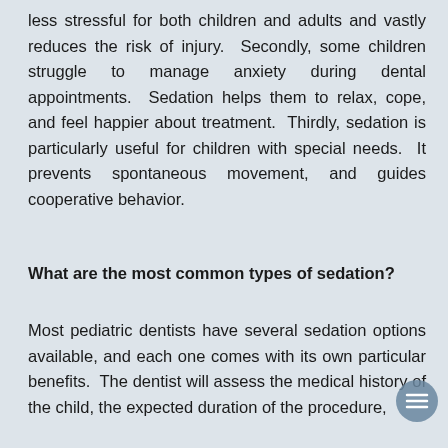less stressful for both children and adults and vastly reduces the risk of injury. Secondly, some children struggle to manage anxiety during dental appointments. Sedation helps them to relax, cope, and feel happier about treatment. Thirdly, sedation is particularly useful for children with special needs. It prevents spontaneous movement, and guides cooperative behavior.
What are the most common types of sedation?
Most pediatric dentists have several sedation options available, and each one comes with its own particular benefits. The dentist will assess the medical history of the child, the expected duration of the procedure,